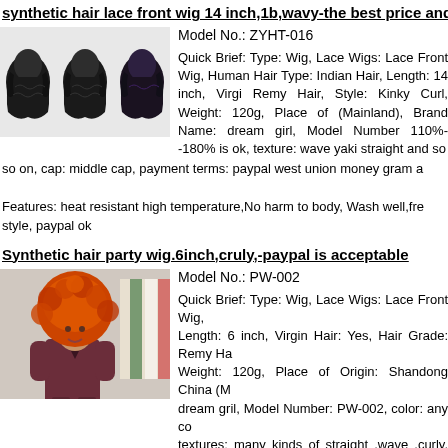synthetic hair lace front wig 14 inch,1b,wavy-the best price and the
[Figure (photo): Three views of a synthetic lace front wig with wavy/curly black hair]
Model No.: ZYHT-016
Quick Brief: Type: Wig, Lace Wigs: Lace Front Wig, Human Hair Type: Indian Hair, Length: 14 inch, Virgin Hair: Remy Hair, Style: Kinky Curl, Weight: 120g, Place of Origin: (Mainland), Brand Name: dream girl, Model Number: 110%--180% is ok, texture: wave yaki straight and so on, cap: middle cap, payment terms: paypal west union money gram a
Features: heat resistant high temperature,No harm to body, Wash well,free style, paypal ok
Synthetic hair party wig.6inch,cruly,-paypal is acceptable
[Figure (photo): Woman wearing a large curly orange/red party wig in a dress]
Model No.: PW-002
Quick Brief: Type: Wig, Lace Wigs: Lace Front Wig, Length: 6 inch, Virgin Hair: Yes, Hair Grade: Remy H, Weight: 120g, Place of Origin: Shandong China (, dream gril, Model Number: PW-002, color: any c, textures: many kinds of straight ,wave .curly, delivery:
Features: heat resistant high temperature,No harm to body, Wash well, free style, paypal ok